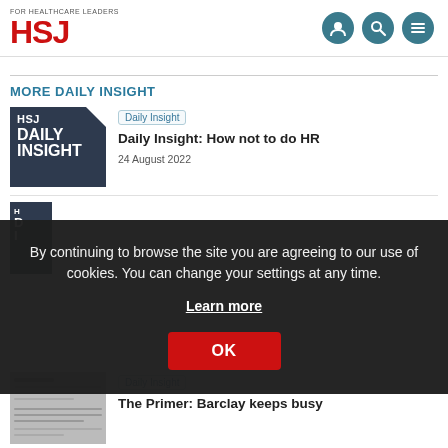HSJ — FOR HEALTHCARE LEADERS
MORE DAILY INSIGHT
[Figure (logo): HSJ Daily Insight logo thumbnail — dark navy background with white text: HSJ DAILY INSIGHT with folded corner]
Daily Insight
Daily Insight: How not to do HR
24 August 2022
[Figure (other): Cookie consent overlay banner with dark background. Text: By continuing to browse the site you are agreeing to our use of cookies. You can change your settings at any time. Learn more. OK button.]
By continuing to browse the site you are agreeing to our use of cookies. You can change your settings at any time.
Learn more
OK
Daily Insight
The Primer: Barclay keeps busy